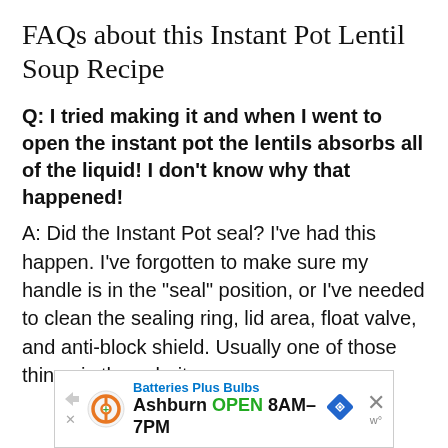FAQs about this Instant Pot Lentil Soup Recipe
Q: I tried making it and when I went to open the instant pot the lentils absorbs all of the liquid! I don't know why that happened!
A: Did the Instant Pot seal? I've had this happen. I've forgotten to make sure my handle is in the "seal" position, or I've needed to clean the sealing ring, lid area, float valve, and anti-block shield. Usually one of those things is the culprit.
[Figure (other): Advertisement banner for Batteries Plus Bulbs showing Ashburn location OPEN 8AM-7PM with navigation icons and close button]